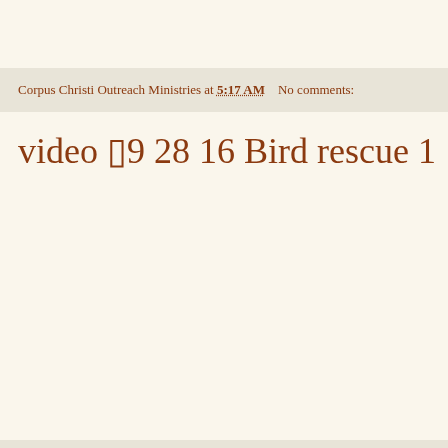Corpus Christi Outreach Ministries at 5:17 AM    No comments:
video ▯9 28 16 Bird rescue 1